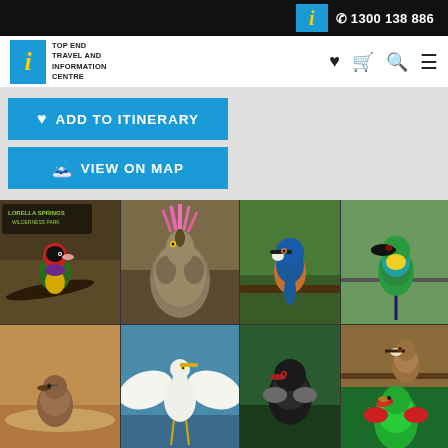Top End Travel and Information Centre — 1300 138 886
[Figure (screenshot): Navigation bar with Top End Travel and Information Centre logo, heart, cart, search, and menu icons]
[Figure (screenshot): ADD TO ITINERARY and VIEW ON MAP buttons on grey background]
[Figure (photo): Collage of bird photos from Top End Australia including Gouldian finch, bustard with pink crest, azure kingfisher, rainbow bee-eater, brown birds, white egret, red-winged parrot, brolga crane, and other species with Lorella Springs Wilderness Park logo overlay]